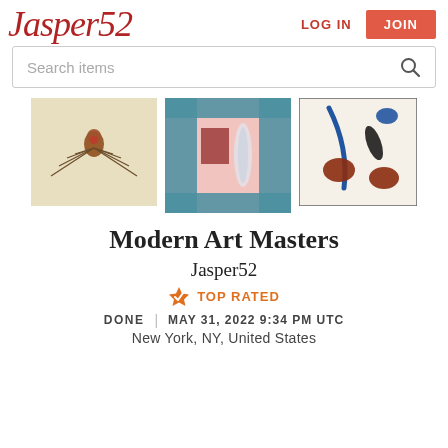Jasper52
LOG IN
JOIN
Search items
[Figure (photo): Three auction artwork preview images: a spider illustration, a pink geometric interior with a glass sculpture, and an abstract composition with blue lines and oval shapes on cream background.]
Modern Art Masters
Jasper52
TOP RATED
DONE | MAY 31, 2022 9:34 PM UTC
New York, NY, United States